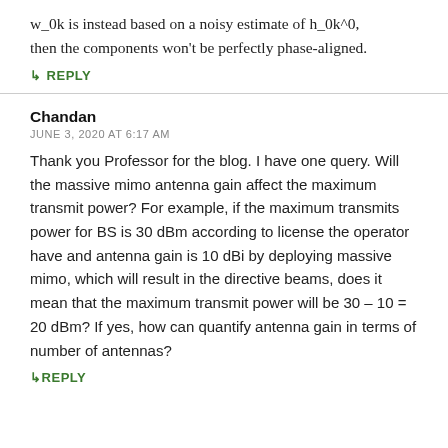w_0k is instead based on a noisy estimate of h_0k^0, then the components won't be perfectly phase-aligned.
↳ REPLY
Chandan
JUNE 3, 2020 AT 6:17 AM
Thank you Professor for the blog. I have one query. Will the massive mimo antenna gain affect the maximum transmit power? For example, if the maximum transmits power for BS is 30 dBm according to license the operator have and antenna gain is 10 dBi by deploying massive mimo, which will result in the directive beams, does it mean that the maximum transmit power will be 30 – 10 = 20 dBm? If yes, how can quantify antenna gain in terms of number of antennas?
↳ REPLY